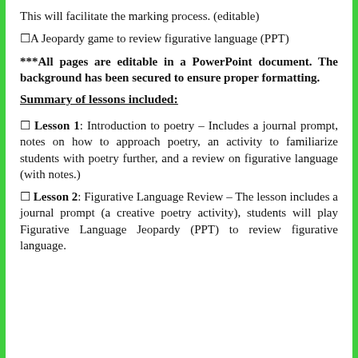This will facilitate the marking process. (editable)
☐A Jeopardy game to review figurative language (PPT)
***All pages are editable in a PowerPoint document. The background has been secured to ensure proper formatting.
Summary of lessons included:
☐ Lesson 1: Introduction to poetry – Includes a journal prompt, notes on how to approach poetry, an activity to familiarize students with poetry further, and a review on figurative language (with notes.)
☐ Lesson 2: Figurative Language Review – The lesson includes a journal prompt (a creative poetry activity), students will play Figurative Language Jeopardy (PPT) to review figurative language.